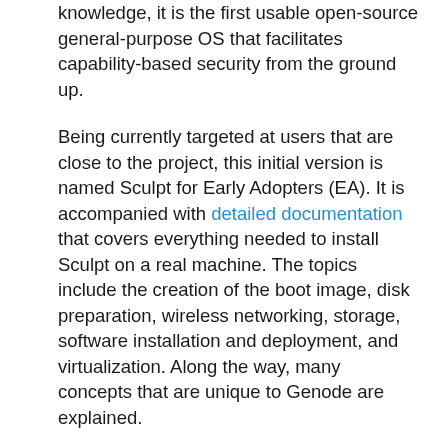knowledge, it is the first usable open-source general-purpose OS that facilitates capability-based security from the ground up.
Being currently targeted at users that are close to the project, this initial version is named Sculpt for Early Adopters (EA). It is accompanied with detailed documentation that covers everything needed to install Sculpt on a real machine. The topics include the creation of the boot image, disk preparation, wireless networking, storage, software installation and deployment, and virtualization. Along the way, many concepts that are unique to Genode are explained.
Without any doubt, most topics of Genode 18.02 were motivated by the work on Sculpt. Most importantly, the release introduces new infrastructure for installing, updating, and deploying software from within a running Genode system. The underlying concepts are very much inspired by Git and the Nix package manager, enabling the installation of multiple software versions side by side, or the ability to roll back the installation to an earlier state